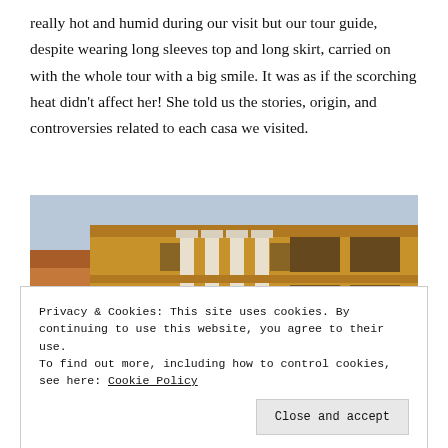really hot and humid during our visit but our tour guide, despite wearing long sleeves top and long skirt, carried on with the whole tour with a big smile. It was as if the scorching heat didn't affect her! She told us the stories, origin, and controversies related to each casa we visited.
[Figure (photo): Low-angle photograph of colonial-style buildings with ornate white columns and balconies against a light blue sky]
Privacy & Cookies: This site uses cookies. By continuing to use this website, you agree to their use.
To find out more, including how to control cookies, see here: Cookie Policy
[Figure (photo): Bottom portion of a street scene photo, partially visible]